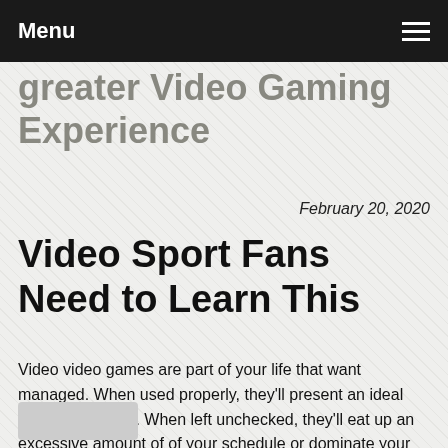Menu
greater Video Gaming Experience
February 20, 2020
Video Sport Fans Need to Learn This
Video video games are part of your life that want managed. When used properly, they'll present an ideal source of leisure. When left unchecked, they'll eat up an excessive amount of of your schedule or dominate your children' lives. To make sure that everybody belo...